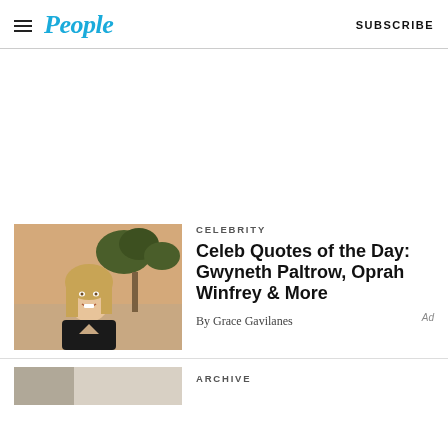People — SUBSCRIBE
[Figure (photo): White advertisement/blank space area]
CELEBRITY
Celeb Quotes of the Day: Gwyneth Paltrow, Oprah Winfrey & More
By Grace Gavilanes
[Figure (photo): Partially visible thumbnail image at the bottom of the page]